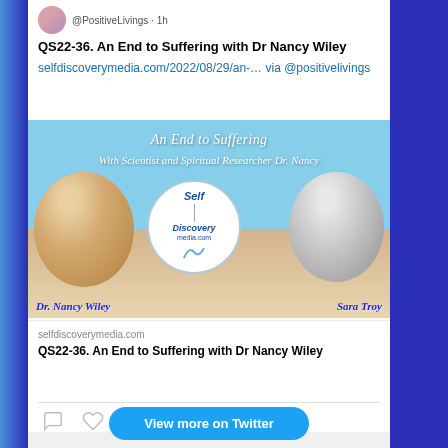@PositiveLivings · 1h
QS22-36. An End to Suffering with Dr Nancy Wiley
selfdiscoverymedia.com/2022/08/29/an-… via @positivelivings
[Figure (photo): Promotional podcast image showing 'An End to Suffering With Scientist and Spiritual Researcher Dr. Nancy' with headshots of Dr. Nancy Wiley and Sara Troy, and Self Discovery Media logo]
selfdiscoverymedia.com
QS22-36. An End to Suffering with Dr Nancy Wiley
View more on Twitter